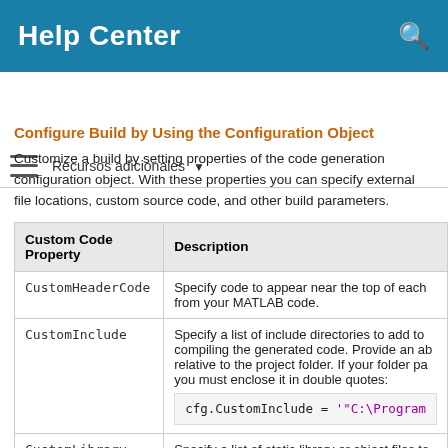Help Center
Recursos adicionales
Configure Build by Using the Configuration Object
Customize a build by setting properties of the code generation configuration object. With these properties you can specify external file locations, custom source code, and other build parameters.
| Custom Code Property | Description |
| --- | --- |
| CustomHeaderCode | Specify code to appear near the top of each from your MATLAB code. |
| CustomInclude | Specify a list of include directories to add to compiling the generated code. Provide an ab relative to the project folder. If your folder pa you must enclose it in double quotes:
cfg.CustomInclude = '"C:\Program |
| CustomLibrary | Specify a list of static library or object files to code. |